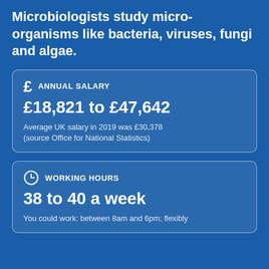Microbiologists study micro-organisms like bacteria, viruses, fungi and algae.
£ ANNUAL SALARY
£18,821 to £47,642
Average UK salary in 2019 was £30,378 (source Office for National Statistics)
WORKING HOURS
38 to 40 a week
You could work: between 8am and 6pm; flexibly